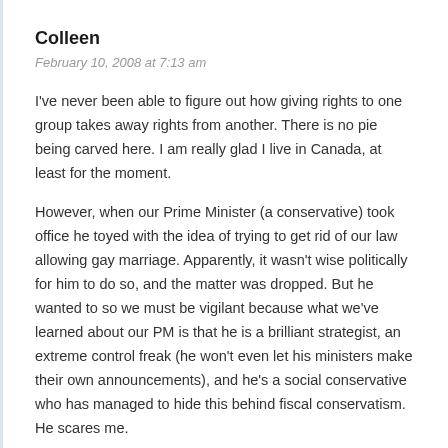Colleen
February 10, 2008 at 7:13 am
I've never been able to figure out how giving rights to one group takes away rights from another. There is no pie being carved here. I am really glad I live in Canada, at least for the moment.
However, when our Prime Minister (a conservative) took office he toyed with the idea of trying to get rid of our law allowing gay marriage. Apparently, it wasn't wise politically for him to do so, and the matter was dropped. But he wanted to so we must be vigilant because what we've learned about our PM is that he is a brilliant strategist, an extreme control freak (he won't even let his ministers make their own announcements), and he's a social conservative who has managed to hide this behind fiscal conservatism. He scares me.